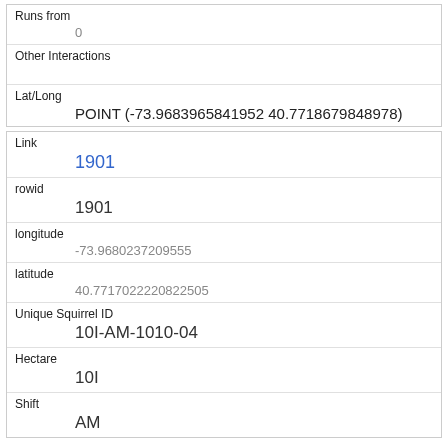| Runs from | 0 |
| Other Interactions |  |
| Lat/Long | POINT (-73.9683965841952 40.7718679848978) |
| Link | 1901 |
| rowid | 1901 |
| longitude | -73.9680237209555 |
| latitude | 40.7717022220822505 |
| Unique Squirrel ID | 10I-AM-1010-04 |
| Hectare | 10I |
| Shift | AM |